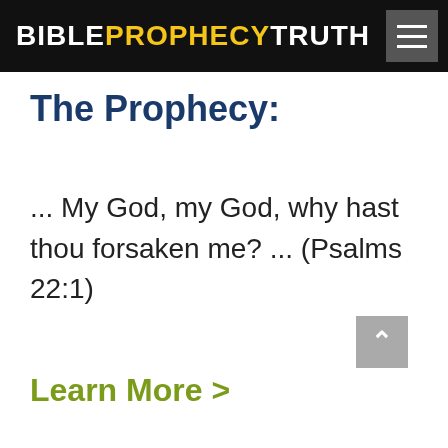BIBLE PROPHECY TRUTH
The Prophecy:
... My God, my God, why hast thou forsaken me? ... (Psalms 22:1)
Learn More >